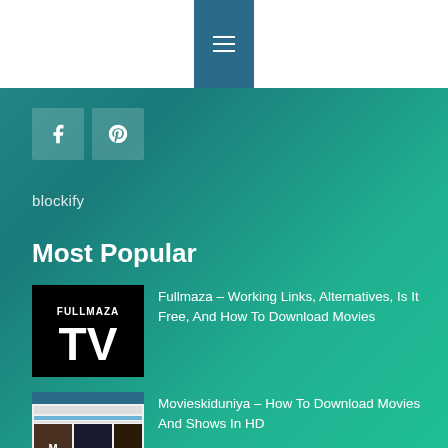[Figure (screenshot): Navigation header bar with hamburger menu icon on teal/blue background button]
[Figure (screenshot): Facebook and Pinterest social media icon buttons]
blockify
Most Popular
[Figure (screenshot): Thumbnail image: FULLMAZA TV logo in black and white]
Fullmaza – Working Links, Alternatives, Is It Free, And How To Download Movies
[Figure (screenshot): Thumbnail image: Movieskiduniya website screenshot showing movie posters]
Movieskiduniya – How To Download Movies And Shows In HD